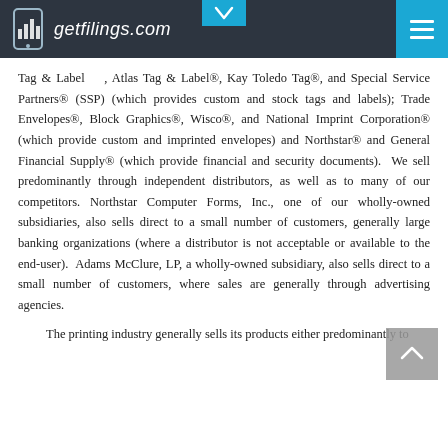getfilings.com
Tag & Label, Atlas Tag & Label®, Kay Toledo Tag®, and Special Service Partners® (SSP) (which provides custom and stock tags and labels); Trade Envelopes®, Block Graphics®, Wisco®, and National Imprint Corporation® (which provide custom and imprinted envelopes) and Northstar® and General Financial Supply® (which provide financial and security documents). We sell predominantly through independent distributors, as well as to many of our competitors. Northstar Computer Forms, Inc., one of our wholly-owned subsidiaries, also sells direct to a small number of customers, generally large banking organizations (where a distributor is not acceptable or available to the end-user). Adams McClure, LP, a wholly-owned subsidiary, also sells direct to a small number of customers, where sales are generally through advertising agencies.
The printing industry generally sells its products either predominantly to